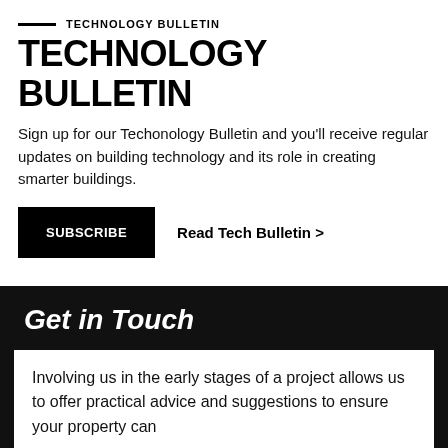TECHNOLOGY BULLETIN
TECHNOLOGY BULLETIN
Sign up for our Techonology Bulletin and you'll receive regular updates on building technology and its role in creating smarter buildings.
SUBSCRIBE
Read Tech Bulletin >
Get in Touch
Involving us in the early stages of a project allows us to offer practical advice and suggestions to ensure your property can